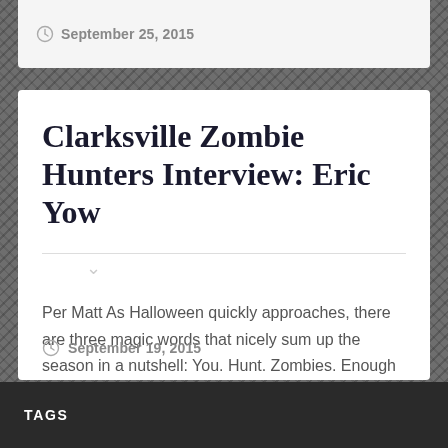September 25, 2015
Clarksville Zombie Hunters Interview: Eric Yow
Per Matt As Halloween quickly approaches, there are three magic words that nicely sum up the season in a nutshell: You. Hunt. Zombies. Enough said.
September 19, 2015
TAGS